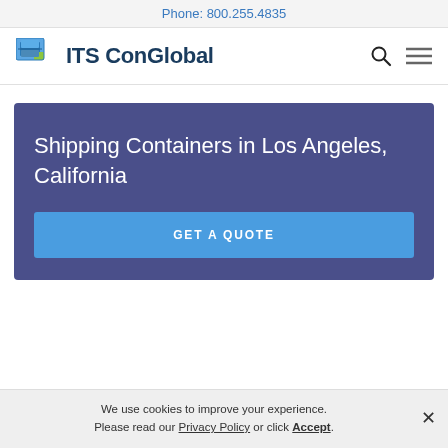Phone: 800.255.4835
[Figure (logo): ITS ConGlobal logo with teal/green container icon and dark navy text, plus search and hamburger menu icons]
Shipping Containers in Los Angeles, California
GET A QUOTE
We use cookies to improve your experience. Please read our Privacy Policy or click Accept.